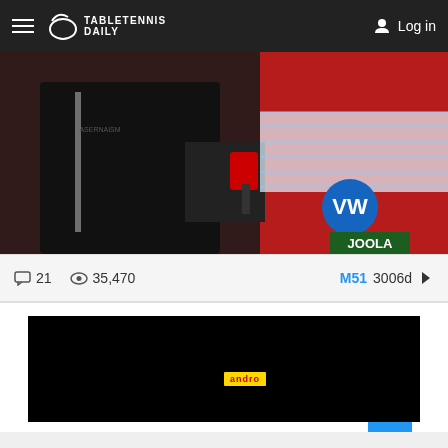TableTennisDaily — Log in
[Figure (photo): Table tennis player in black jacket holding a paddle near a net, with VW and Joola branding visible in background]
21 comments  35,470 views  M51  3006d
[Figure (screenshot): Video player with black background showing andro (yellow badge) branding]
andro
[Figure (other): Scroll to top button (blue, up arrow)]
Comment row 1 (loading placeholder)
Comment row 2 (loading placeholder)
Comment row 3 (loading placeholder)
Comment row 4 (loading placeholder)